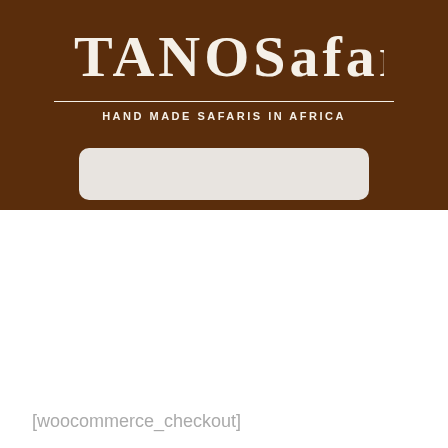[Figure (logo): TANO Safaris logo with decorative tribal-style lettering in cream/white on dark brown background, with tagline 'HAND MADE SAFARIS IN AFRICA' and a search bar below]
[woocommerce_checkout]